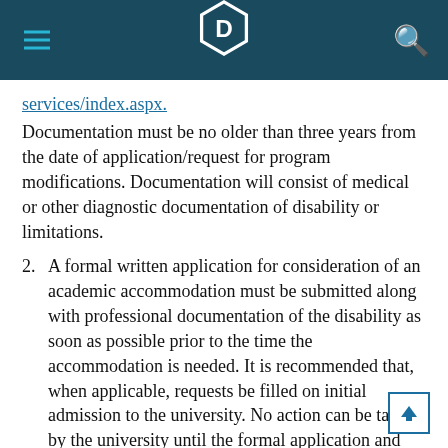services/index.aspx.
Documentation must be no older than three years from the date of application/request for program modifications. Documentation will consist of medical or other diagnostic documentation of disability or limitations.
2. A formal written application for consideration of an academic accommodation must be submitted along with professional documentation of the disability as soon as possible prior to the time the accommodation is needed. It is recommended that, when applicable, requests be filled on initial admission to the university. No action can be taken by the university until the formal application and documentation are provided.